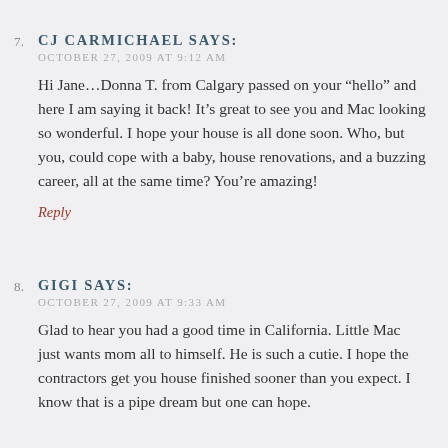7. CJ CARMICHAEL SAYS:
OCTOBER 27, 2009 AT 9:12 AM

Hi Jane…Donna T. from Calgary passed on your "hello" and here I am saying it back! It's great to see you and Mac looking so wonderful. I hope your house is all done soon. Who, but you, could cope with a baby, house renovations, and a buzzing career, all at the same time? You're amazing!

Reply
8. GIGI SAYS:
OCTOBER 27, 2009 AT 9:33 AM

Glad to hear you had a good time in California. Little Mac just wants mom all to himself. He is such a cutie. I hope the contractors get you house finished sooner than you expect. I know that is a pipe dream but one can hope.